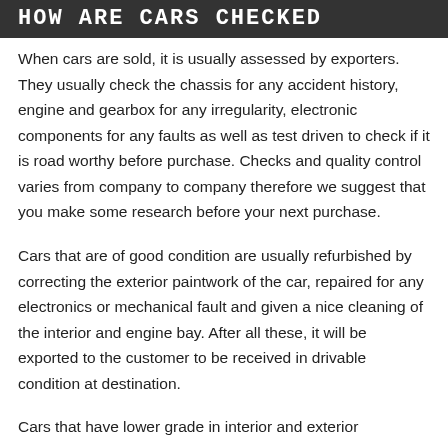HOW ARE CARS CHECKED
When cars are sold, it is usually assessed by exporters. They usually check the chassis for any accident history, engine and gearbox for any irregularity, electronic components for any faults as well as test driven to check if it is road worthy before purchase. Checks and quality control varies from company to company therefore we suggest that you make some research before your next purchase.
Cars that are of good condition are usually refurbished by correcting the exterior paintwork of the car, repaired for any electronics or mechanical fault and given a nice cleaning of the interior and engine bay. After all these, it will be exported to the customer to be received in drivable condition at destination.
Cars that have lower grade in interior and exterior...